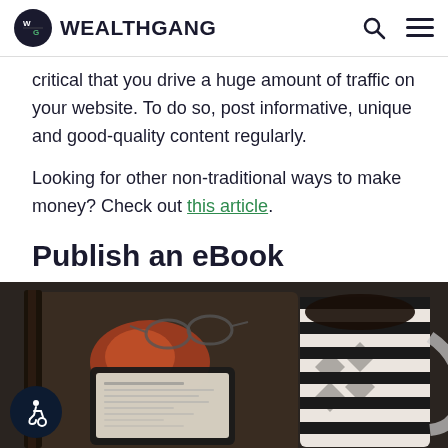WEALTHGANG
critical that you drive a huge amount of traffic on your website. To do so, post informative, unique and good-quality content regularly.
Looking for other non-traditional ways to make money? Check out this article.
Publish an eBook
[Figure (photo): A dark wooden tray with glasses, a Kindle e-reader, and a large black and white striped coffee mug on a dark surface, with an accessibility icon overlay in the bottom left.]